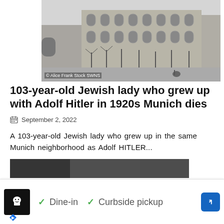[Figure (photo): Black and white historical photograph of a large European building with arched windows, bare trees lining the street, and a person with a bicycle in the foreground. Watermark reads '© Alice Frank Stock SWNS'.]
103-year-old Jewish lady who grew up with Adolf Hitler in 1920s Munich dies
September 2, 2022
A 103-year-old Jewish lady who grew up in the same Munich neighborhood as Adolf HITLER...
[Figure (photo): Partially visible blurred photograph below the article text.]
[Figure (other): Advertisement bar showing a restaurant logo with a chef icon, checkmarks for 'Dine-in' and 'Curbside pickup', and a blue diamond navigation arrow icon.]